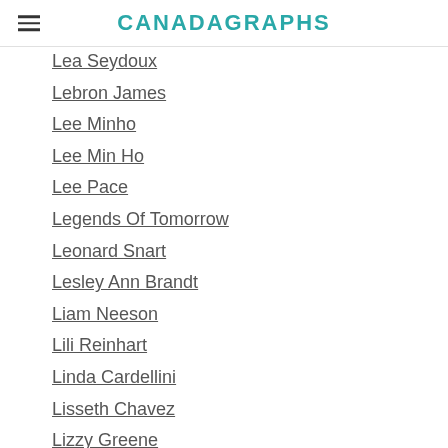CANADAGRAPHS
Lea Seydoux
Lebron James
Lee Minho
Lee Min Ho
Lee Pace
Legends Of Tomorrow
Leonard Snart
Lesley Ann Brandt
Liam Neeson
Lili Reinhart
Linda Cardellini
Lisseth Chavez
Lizzy Greene
Louis CK
Lucifer